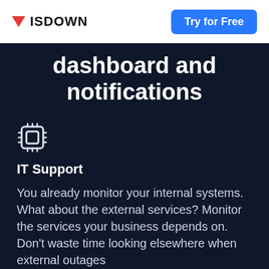ISDOWN  Try for Free
dashboard and notifications
IT Support
You already monitor your internal systems. What about the external services? Monitor the services your business depends on. Don't waste time looking elsewhere when external outages